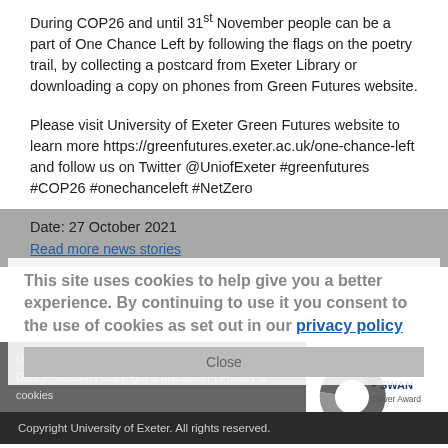During COP26 and until 31st November people can be a part of One Chance Left by following the flags on the poetry trail, by collecting a postcard from Exeter Library or downloading a copy on phones from Green Futures website.
Please visit University of Exeter Green Futures website to learn more https://greenfutures.exeter.ac.uk/one-chance-left and follow us on Twitter @UniofExeter #greenfutures #COP26 #onechanceleft #NetZero
Date: 27 October 2021
Read more news stories
This site uses cookies to help give you a better experience. By continuing to use it you consent to the use of cookies as set out in our privacy policy
Using our site | Accessibility | Freedom of Information | Data Protection | Copyright & disclaimer | Privacy & cookies
[Figure (logo): Athena SWAN Silver Award Gender Charter logo]
Copyright University of Exeter. All rights reserved.